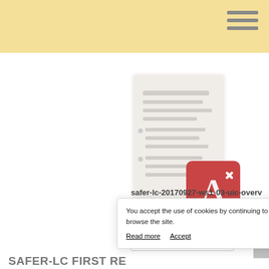[Figure (screenshot): Website screenshot showing a PDF document thumbnail with Adobe Acrobat icon, file info, a 'See the document' button, a cookie consent banner, and a partial page title at the bottom.]
safer-lc-20170927-ws1-03-uic-overview.pdf
2 October 2017 - PDF - 703.7 kb
See the document ↗
You accept the use of cookies by continuing to browse the site.
Read more   Accept
SAFER-LC FIRST RE